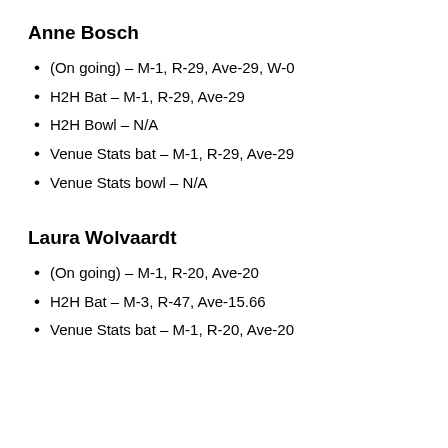Anne Bosch
(On going) – M-1, R-29, Ave-29, W-0
H2H Bat – M-1, R-29, Ave-29
H2H Bowl – N/A
Venue Stats bat – M-1, R-29, Ave-29
Venue Stats bowl – N/A
Laura Wolvaardt
(On going) – M-1, R-20, Ave-20
H2H Bat – M-3, R-47, Ave-15.66
Venue Stats bat – M-1, R-20, Ave-20